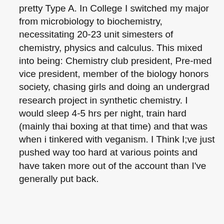pretty Type A. In College I switched my major from microbiology to biochemistry, necessitating 20-23 unit simesters of chemistry, physics and calculus. This mixed into being: Chemistry club president, Pre-med vice president, member of the biology honors society, chasing girls and doing an undergrad research project in synthetic chemistry. I would sleep 4-5 hrs per night, train hard (mainly thai boxing at that time) and that was when i tinkered with veganism. I Think I;ve just pushed way too hard at various points and have taken more out of the account than I've generally put back.